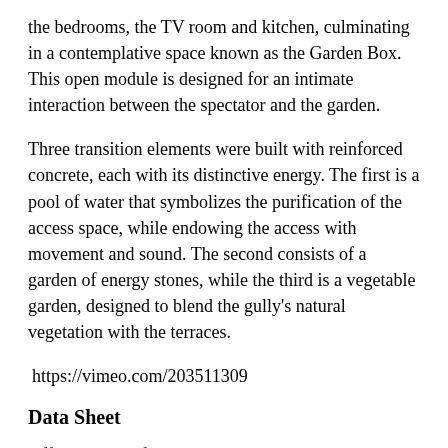the bedrooms, the TV room and kitchen, culminating in a contemplative space known as the Garden Box. This open module is designed for an intimate interaction between the spectator and the garden.
Three transition elements were built with reinforced concrete, each with its distinctive energy. The first is a pool of water that symbolizes the purification of the access space, while endowing the access with movement and sound. The second consists of a garden of energy stones, while the third is a vegetable garden, designed to blend the gully's natural vegetation with the terraces.
https://vimeo.com/203511309
Data Sheet
Official name of the project: Villa Jardín
Location: Huixquilucan, Estado de Mexico